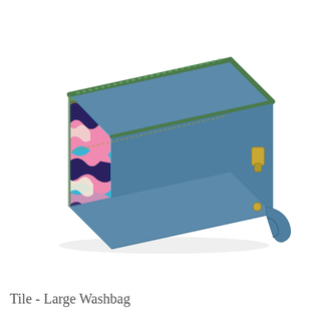[Figure (photo): A large washbag (toiletry bag) with a blue leather body and a colorful needlepoint panel on the side featuring a zigzag/tile pattern in pink, navy, turquoise, and cream. The bag has a green-trimmed gold zipper across the top and a blue leather wrist strap on the right side. The bag is photographed at a 3/4 angle on a white background.]
Tile - Large Washbag